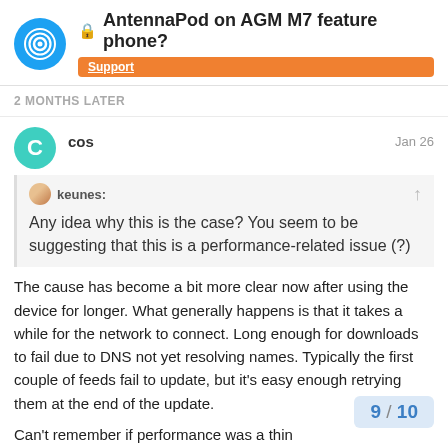AntennaPod on AGM M7 feature phone? [Support]
2 MONTHS LATER
cos   Jan 26
keunes:
Any idea why this is the case? You seem to be suggesting that this is a performance-related issue (?)
The cause has become a bit more clear now after using the device for longer. What generally happens is that it takes a while for the network to connect. Long enough for downloads to fail due to DNS not yet resolving names. Typically the first couple of feeds fail to update, but it's easy enough retrying them at the end of the update.
Can't remember if performance was a thin errors too. I've left the number of parallel d
9 / 10